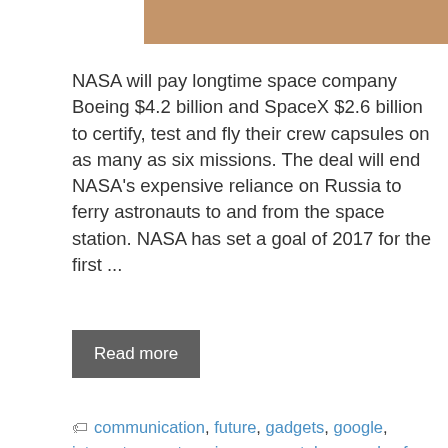[Figure (photo): Brownish/tan colored image placeholder at the top of the page]
NASA will pay longtime space company Boeing $4.2 billion and SpaceX $2.6 billion to certify, test and fly their crew capsules on as many as six missions. The deal will end NASA's expensive reliance on Russia to ferry astronauts to and from the space station. NASA has set a goal of 2017 for the first ...
Read more
communication, future, gadgets, google, internet, poverty, science, smartphone, solve for x, technology, wireless, world